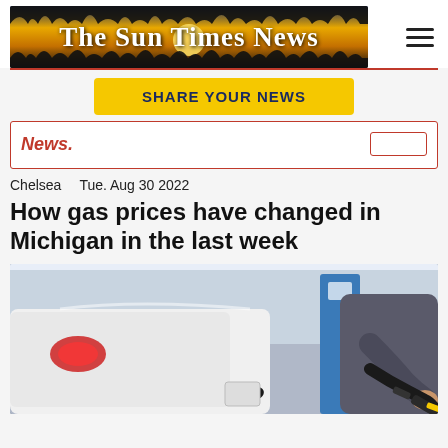[Figure (logo): The Sun Times News logo banner with golden sunset and dark silhouette background]
SHARE YOUR NEWS
News.
Chelsea   Tue. Aug 30 2022
How gas prices have changed in Michigan in the last week
[Figure (photo): Close-up photo of a person's hand holding a black gasoline pump nozzle inserted into a white car at a gas station, with blue and red background details]